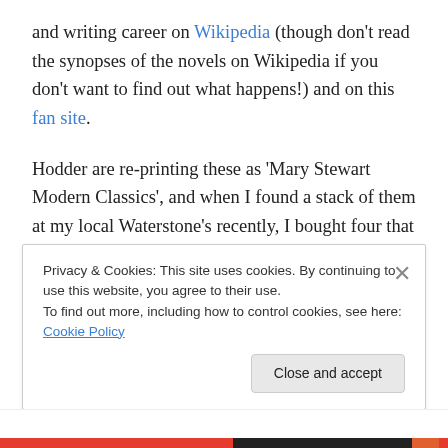and writing career on Wikipedia (though don't read the synopses of the novels on Wikipedia if you don't want to find out what happens!) and on this fan site.
Hodder are re-printing these as 'Mary Stewart Modern Classics', and when I found a stack of them at my local Waterstone's recently, I bought four that I'd not read before, devoured them all in two days, borrowed another from my sister, and then bought two more for my Kindle. They are exciting, moving, sometimes amusing, beautifully written, and have a strong sense of place. Her heroines
Privacy & Cookies: This site uses cookies. By continuing to use this website, you agree to their use.
To find out more, including how to control cookies, see here: Cookie Policy